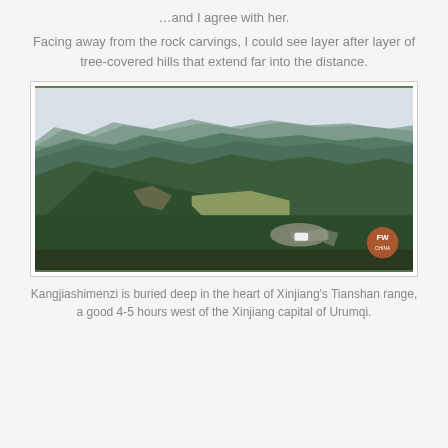…and I agree with her.
Facing away from the rock carvings, I could see layer after layer of tree-covered hills that extend far into the distance.
[Figure (photo): Aerial/elevated view of tree-covered rolling hills and mountains extending into the distance, with a road/parking area visible in the lower right. An FW China watermark logo appears in the bottom right corner.]
Kangjiashimenzi is buried deep in the heart of Xinjiang's Tianshan range, a good 4-5 hours west of the Xinjiang capital of Urumqi.